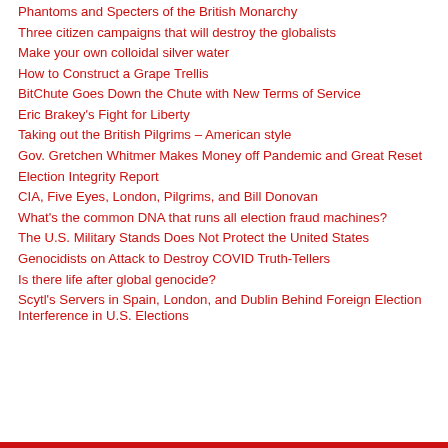Phantoms and Specters of the British Monarchy
Three citizen campaigns that will destroy the globalists
Make your own colloidal silver water
How to Construct a Grape Trellis
BitChute Goes Down the Chute with New Terms of Service
Eric Brakey's Fight for Liberty
Taking out the British Pilgrims – American style
Gov. Gretchen Whitmer Makes Money off Pandemic and Great Reset
Election Integrity Report
CIA, Five Eyes, London, Pilgrims, and Bill Donovan
What's the common DNA that runs all election fraud machines?
The U.S. Military Stands Does Not Protect the United States
Genocidists on Attack to Destroy COVID Truth-Tellers
Is there life after global genocide?
Scytl's Servers in Spain, London, and Dublin Behind Foreign Election Interference in U.S. Elections